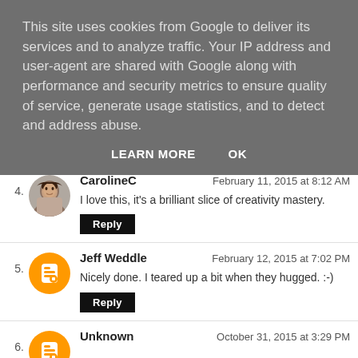This site uses cookies from Google to deliver its services and to analyze traffic. Your IP address and user-agent are shared with Google along with performance and security metrics to ensure quality of service, generate usage statistics, and to detect and address abuse.
LEARN MORE   OK
4. CarolineC — February 11, 2015 at 8:12 AM — I love this, it's a brilliant slice of creativity mastery. [Reply]
5. Jeff Weddle — February 12, 2015 at 7:02 PM — Nicely done. I teared up a bit when they hugged. :-) [Reply]
6. Unknown — October 31, 2015 at 3:29 PM